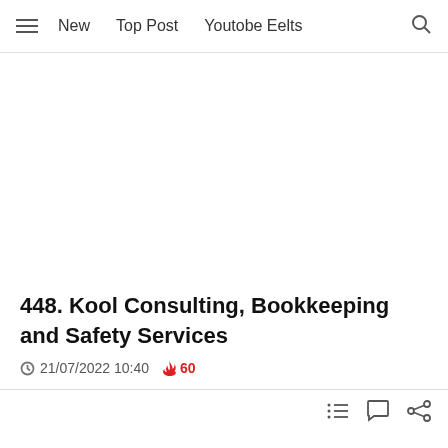New   Top Post   Youtobe Eelts
[Figure (other): Large blank/white image area placeholder]
448. Kool Consulting, Bookkeeping and Safety Services
21/07/2022 10:40   🔥 60